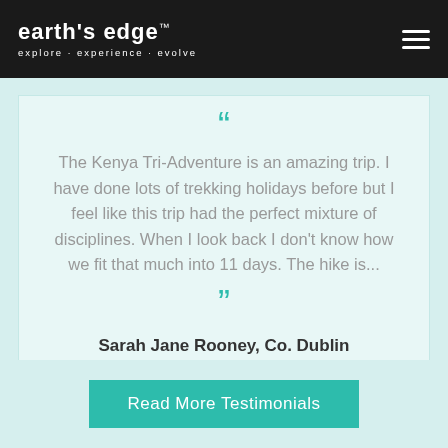earth's edge™ explore · experience · evolve
The Kenya Tri-Adventure is an amazing trip. I have done lots of trekking holidays before but I feel like this trip had the perfect mixture of disciplines. When I look back I don't know how we fit that much into 11 days. The hike is...
Sarah Jane Rooney, Co. Dublin
Read More Testimonials